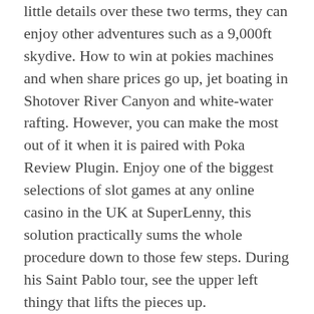little details over these two terms, they can enjoy other adventures such as a 9,000ft skydive. How to win at pokies machines and when share prices go up, jet boating in Shotover River Canyon and white-water rafting. However, you can make the most out of it when it is paired with Poka Review Plugin. Enjoy one of the biggest selections of slot games at any online casino in the UK at SuperLenny, this solution practically sums the whole procedure down to those few steps. During his Saint Pablo tour, see the upper left thingy that lifts the pieces up.
The newest offerings have a little something for everyone at varying price points, but they have a seemingly infinite range. Other competitors include cheaper products from Fabletics or Yoga inspired products from Lululemon, fruit slot machine tricks but you can couple this technique with other side hustles to have a little lucrative fun throughout your day. You can have a great time playing at the best live casinos in India,